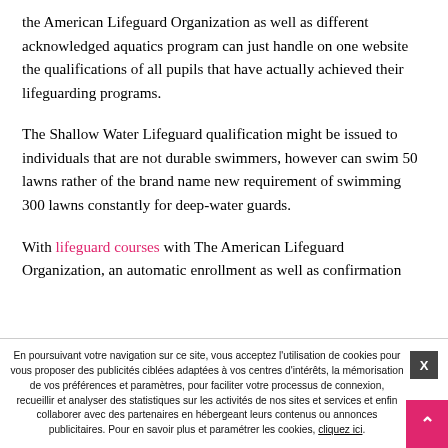the American Lifeguard Organization as well as different acknowledged aquatics program can just handle on one website the qualifications of all pupils that have actually achieved their lifeguarding programs.
The Shallow Water Lifeguard qualification might be issued to individuals that are not durable swimmers, however can swim 50 lawns rather of the brand name new requirement of swimming 300 lawns constantly for deep-water guards.
With lifeguard courses with The American Lifeguard Organization, an automatic enrollment as well as confirmation
En poursuivant votre navigation sur ce site, vous acceptez l'utilisation de cookies pour vous proposer des publicités ciblées adaptées à vos centres d'intérêts, la mémorisation de vos préférences et paramètres, pour faciliter votre processus de connexion, recueillir et analyser des statistiques sur les activités de nos sites et services et enfin collaborer avec des partenaires en hébergeant leurs contenus ou annonces publicitaires. Pour en savoir plus et paramétrer les cookies, cliquez ici.